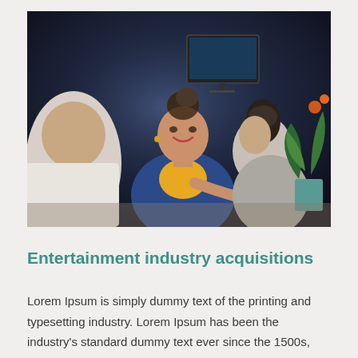[Figure (photo): Three people sitting at a table in an office setting. A woman in the center wearing a blue blazer and yellow top is smiling and looking toward the camera. Another woman in the background wears a grey outfit. A man in a white shirt is visible from behind on the left. Laptops and a potted plant are on the desk.]
Entertainment industry acquisitions
Lorem Ipsum is simply dummy text of the printing and typesetting industry. Lorem Ipsum has been the industry's standard dummy text ever since the 1500s, when an unknown